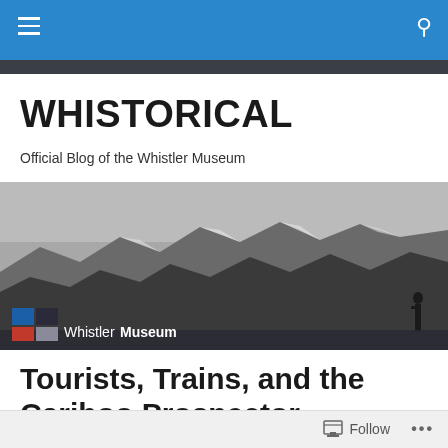WHISTORICAL - Navigation bar with hamburger menu and search icon
WHISTORICAL
Official Blog of the Whistler Museum
[Figure (photo): Black and white panoramic photograph of snow-capped mountain range with a silhouette of a person on the right side. Overlaid with Whistler Museum logo in lower left.]
Tourists, Trains, and the Cariboo Prospector
A few weeks ago, we wrote an article about the history of
Follow ...